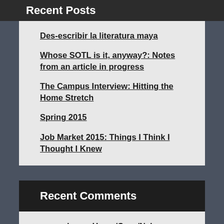Recent Posts
Des-escribir la literatura maya
Whose SOTL is it, anyway?: Notes from an article in progress
The Campus Interview: Hitting the Home Stretch
Spring 2015
Job Market 2015: Things I Think I Thought I Knew
Recent Comments
pmworley on Home/Casa/Nah